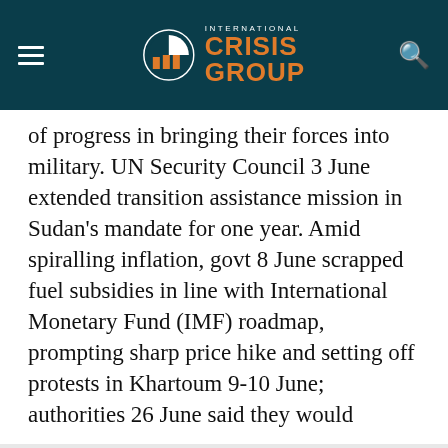International Crisis Group
of progress in bringing their forces into military. UN Security Council 3 June extended transition assistance mission in Sudan's mandate for one year. Amid spiralling inflation, govt 8 June scrapped fuel subsidies in line with International Monetary Fund (IMF) roadmap, prompting sharp price hike and setting off protests in Khartoum 9-10 June; authorities 26 June said they would
This site uses cookies. By continuing to browse the site you are agreeing to our use of cookies. Review our privacy policy for more details.